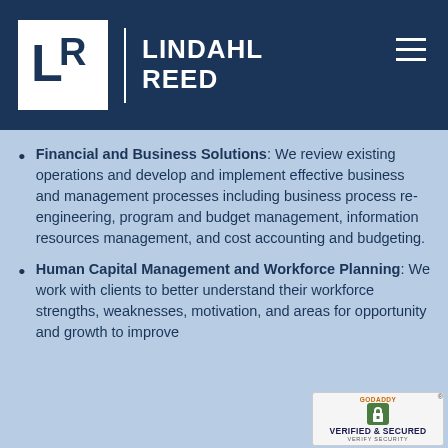[Figure (logo): Lindahl Reed company logo — white LR monogram in a white box, vertical divider, LINDAHL REED text in white on dark navy background with hamburger menu icon top right]
Financial and Business Solutions: We review existing operations and develop and implement effective business and management processes including business process re-engineering, program and budget management, information resources management, and cost accounting and budgeting.
Human Capital Management and Workforce Planning: We work with clients to better understand their workforce strengths, weaknesses, motivation, and areas for opportunity and growth to improve